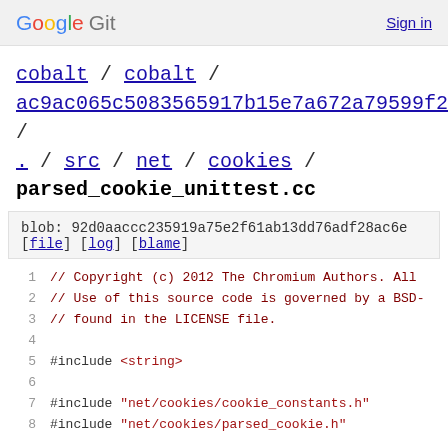Google Git  Sign in
cobalt / cobalt / ac9ac065c5083565917b15e7a672a79599f2f00b / . / src / net / cookies /
parsed_cookie_unittest.cc
blob: 92d0aaccc235919a75e2f61ab13dd76adf28ac6e [file] [log] [blame]
1  // Copyright (c) 2012 The Chromium Authors. All
2  // Use of this source code is governed by a BSD-
3  // found in the LICENSE file.
4
5  #include <string>
6
7  #include "net/cookies/cookie_constants.h"
8  #include "net/cookies/parsed_cookie.h"